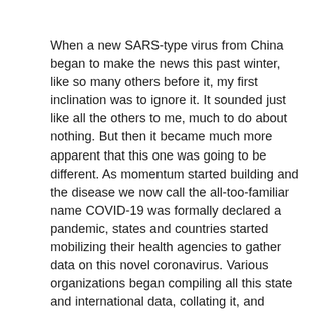When a new SARS-type virus from China began to make the news this past winter, like so many others before it, my first inclination was to ignore it. It sounded just like all the others to me, much to do about nothing. But then it became much more apparent that this one was going to be different. As momentum started building and the disease we now call the all-too-familiar name COVID-19 was formally declared a pandemic, states and countries started mobilizing their health agencies to gather data on this novel coronavirus. Various organizations began compiling all this state and international data, collating it, and posting it on their websites. At this point I began taking a much greater interest in it. Looking around online, I found?The COVID Tracking Project(https://covidtracking.com), sponsored by?The Atlantic. Drilling down I was able to locate the historical data for New Mexico (https://covidtracking.com/data/state/...